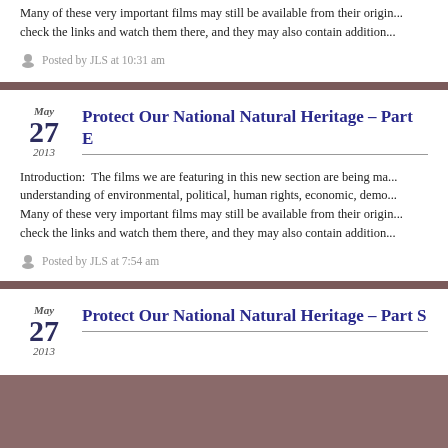Many of these very important films may still be available from their origin... check the links and watch them there, and they may also contain addition...
Posted by JLS at 10:31 am
Protect Our National Natural Heritage – Part E
Introduction:  The films we are featuring in this new section are being ma... understanding of environmental, political, human rights, economic, demo... Many of these very important films may still be available from their origin... check the links and watch them there, and they may also contain addition...
Posted by JLS at 7:54 am
Protect Our National Natural Heritage – Part S